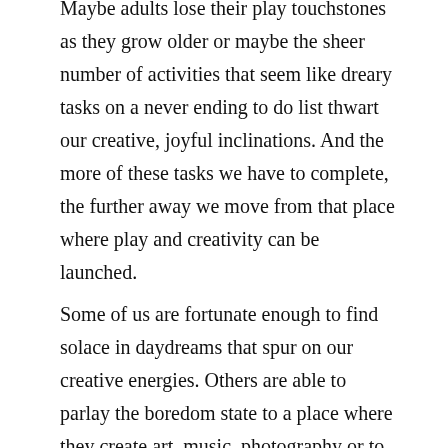Maybe adults lose their play touchstones as they grow older or maybe the sheer number of activities that seem like dreary tasks on a never ending to do list thwart our creative, joyful inclinations. And the more of these tasks we have to complete, the further away we move from that place where play and creativity can be launched.
Some of us are fortunate enough to find solace in daydreams that spur on our creative energies. Others are able to parlay the boredom state to a place where they create art, music, photography or to write. Neil Gaiman said, “You have to let yourself get so bored that your mind has nothing better to do than tell itself a story.”
So the next time you feel bored pay attention to where your mind wanders and see if the state of boredom recedes into the background and creativity emerges to